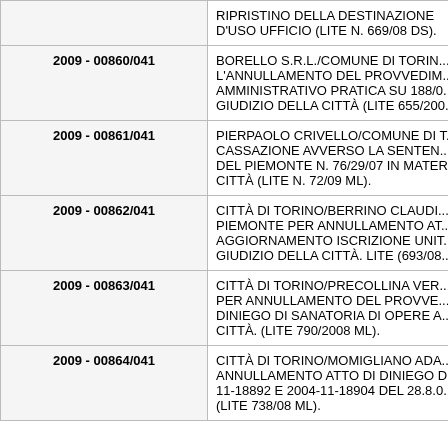| Codice | Descrizione |
| --- | --- |
|  | RIPRISTINO DELLA DESTINAZIONE D'USO UFFICIO (LITE N. 669/08 DS). |
| 2009 - 00860/041 | BORELLO S.R.L./COMUNE DI TORINO. L'ANNULLAMENTO DEL PROVVEDIMENTO AMMINISTRATIVO PRATICA SU 188/0... GIUDIZIO DELLA CITTÀ (LITE 655/200... |
| 2009 - 00861/041 | PIERPAOLO CRIVELLO/COMUNE DI T... CASSAZIONE AVVERSO LA SENTEN... DEL PIEMONTE N. 76/29/07 IN MATER... CITTÀ (LITE N. 72/09 ML). |
| 2009 - 00862/041 | CITTÀ DI TORINO/BERRINO CLAUDI... PIEMONTE PER ANNULLAMENTO AT... AGGIORNAMENTO ISCRIZIONE UNIT... GIUDIZIO DELLA CITTÀ. LITE (693/08... |
| 2009 - 00863/041 | CITTÀ DI TORINO/PRECOLLINA VER... PER ANNULLAMENTO DEL PROVVE... DINIEGO DI SANATORIA DI OPERE A... CITTÀ. (LITE 790/2008 ML). |
| 2009 - 00864/041 | CITTÀ DI TORINO/MOMIGLIANO ADA... ANNULLAMENTO ATTO DI DINIEGO D... 11-18892 E 2004-11-18904 DEL 28.8.0... (LITE 738/08 ML). |